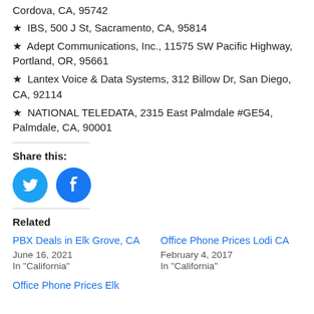Cordova, CA, 95742
IBS, 500 J St, Sacramento, CA, 95814
Adept Communications, Inc., 11575 SW Pacific Highway, Portland, OR, 95661
Lantex Voice & Data Systems, 312 Billow Dr, San Diego, CA, 92114
NATIONAL TELEDATA, 2315 East Palmdale #GE54, Palmdale, CA, 90001
Share this:
[Figure (illustration): Twitter and Facebook social share icon buttons (circular blue icons)]
Related
PBX Deals in Elk Grove, CA
June 16, 2021
In "California"
Office Phone Prices Lodi CA
February 4, 2017
In "California"
Office Phone Prices Elk